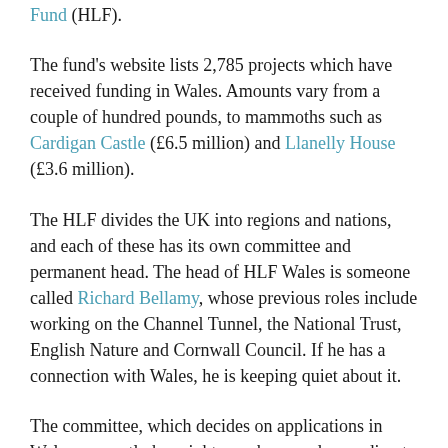Fund (HLF).
The fund's website lists 2,785 projects which have received funding in Wales. Amounts vary from a couple of hundred pounds, to mammoths such as Cardigan Castle (£6.5 million) and Llanelly House (£3.6 million).
The HLF divides the UK into regions and nations, and each of these has its own committee and permanent head. The head of HLF Wales is someone called Richard Bellamy, whose previous roles include working on the Channel Tunnel, the National Trust, English Nature and Cornwall Council. If he has a connection with Wales, he is keeping quiet about it.
The committee, which decides on applications in Wales, currently has eight members, and according to HLF's website:
“The committees are made up of local people recruited through open advertisement. Committees are supported by